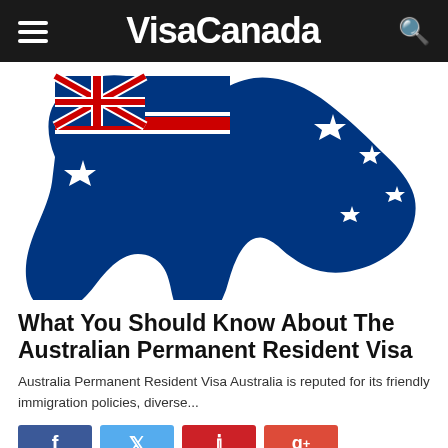VisaCanada
[Figure (illustration): Australia map silhouette filled with the Australian flag (blue with Union Jack canton and Southern Cross stars)]
What You Should Know About The Australian Permanent Resident Visa
Australia Permanent Resident Visa Australia is reputed for its friendly immigration policies, diverse...
[Figure (infographic): Social sharing buttons: Facebook (f), Twitter (bird), Pinterest (p), Google+ (g+)]